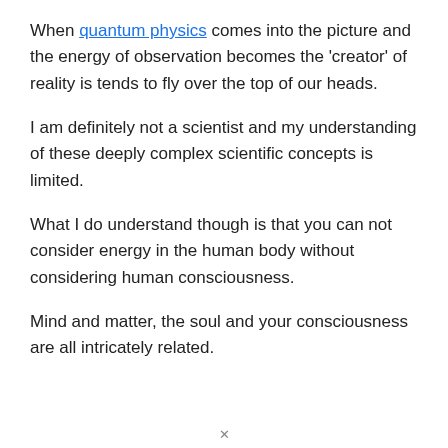When quantum physics comes into the picture and the energy of observation becomes the 'creator' of reality is tends to fly over the top of our heads.
I am definitely not a scientist and my understanding of these deeply complex scientific concepts is limited.
What I do understand though is that you can not consider energy in the human body without considering human consciousness.
Mind and matter, the soul and your consciousness are all intricately related.